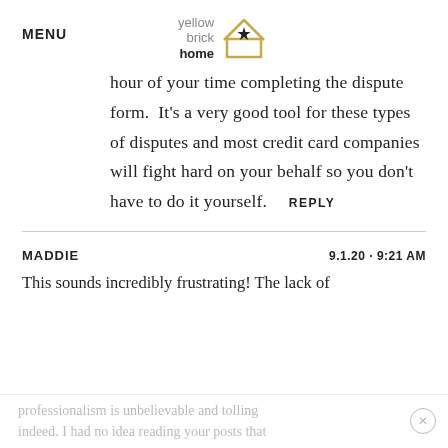MENU | yellow brick home logo
hour of your time completing the dispute form.  It's a very good tool for these types of disputes and most credit card companies will fight hard on your behalf so you don't have to do it yourself.   REPLY
MADDIE   9.1.20 · 9:21 AM
This sounds incredibly frustrating! The lack of professionalism is unbelievable and tolling indeed. I had no idea reading your posts that